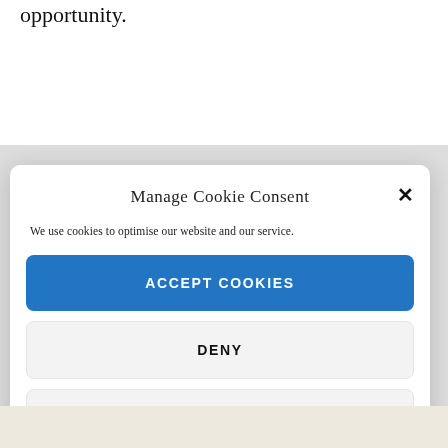opportunity.
Manage Cookie Consent
We use cookies to optimise our website and our service.
ACCEPT COOKIES
DENY
VIEW PREFERENCES
Cookie Policy   Privacy Notice